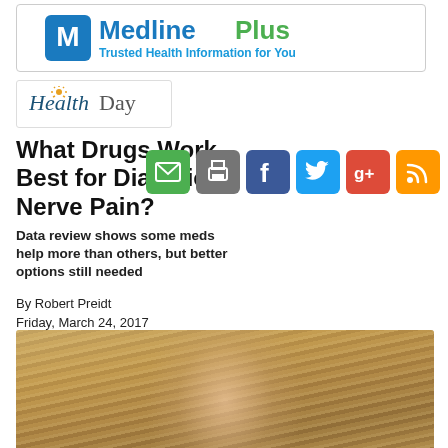[Figure (logo): MedlinePlus logo banner — blue and green logo with tagline 'Trusted Health Information for You']
[Figure (logo): HealthDay logo in a rounded box]
What Drugs Work Best for Diabetic Nerve Pain?
Data review shows some meds help more than others, but better options still needed
By Robert Preidt
Friday, March 24, 2017
[Figure (photo): Photo of a woman with blonde/auburn hair, cropped at shoulders]
[Figure (other): Social sharing icons: email, print, Facebook, Twitter, Google+, RSS]